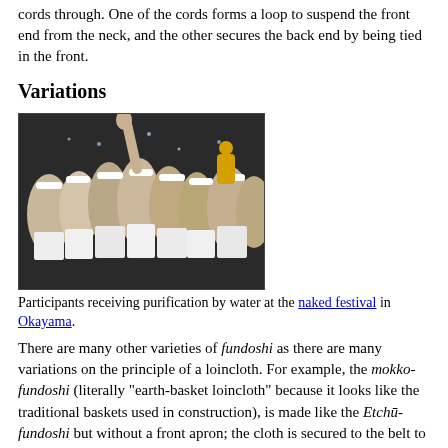cords through. One of the cords forms a loop to suspend the front end from the neck, and the other secures the back end by being tied in the front.
Variations
[Figure (photo): Participants receiving purification by water at the naked festival in Okayama. Crowd of people wearing white fundoshi loincloth garments.]
Participants receiving purification by water at the naked festival in Okayama.
There are many other varieties of fundoshi as there are many variations on the principle of a loincloth. For example, the mokko-fundoshi (literally "earth-basket loincloth" because it looks like the traditional baskets used in construction), is made like the Etchū-fundoshi but without a front apron; the cloth is secured to the belt to make a bikini effect. The kuro-neko fundoshi (literally "black cat fundoshi") is like the mokko-fundoshi except that the portion that